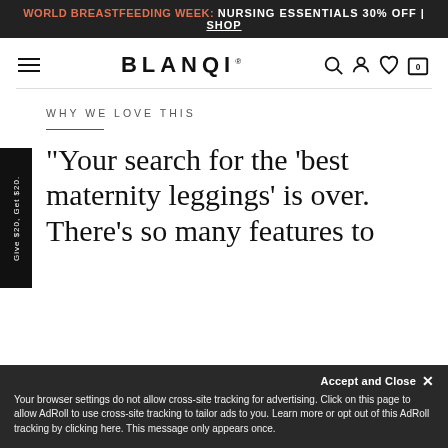WORLD BREASTFEEDING WEEK: NURSING ESSENTIALS 30% OFF | SHOP
BLANQI
WHY WE LOVE THIS
“Your search for the ‘best maternity leggings’ is over. There’s so many features to
Your browser settings do not allow cross-site tracking for advertising. Click on this page to allow AdRoll to use cross-site tracking to tailor ads to you. Learn more or opt out of this AdRoll tracking by clicking here. This message only appears once.